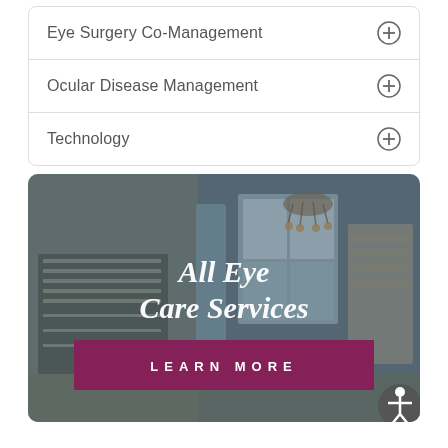Eye Surgery Co-Management
Ocular Disease Management
Technology
[Figure (photo): Interior of an optometry / eye care office with eyeglass display racks, large windows, a chandelier, and a reception desk area. Overlaid with italic white text 'All Eye Care Services' and a purple 'LEARN MORE' button.]